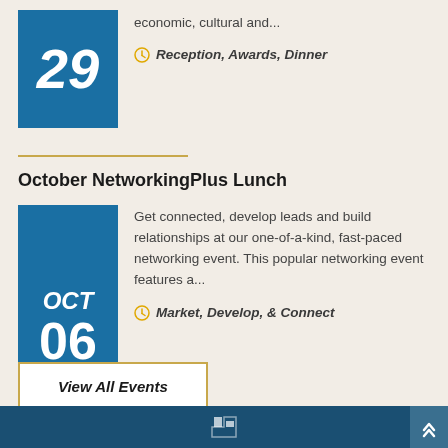economic, cultural and...
Reception, Awards, Dinner
October NetworkingPlus Lunch
Get connected, develop leads and build relationships at our one-of-a-kind, fast-paced networking event. This popular networking event features a...
Market, Develop, & Connect
View All Events